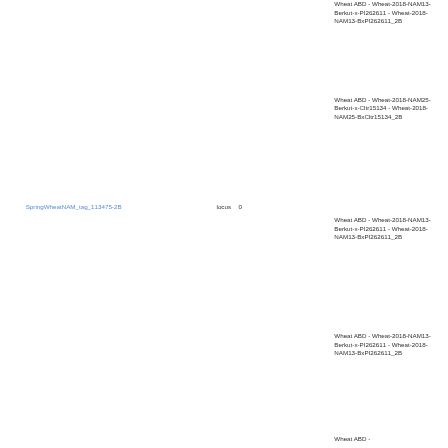Wheat ABD - Wheat-2018-NAM13-Berkut-x-PI262611 - Wheat-2018-NAM13-BxPI262611_2B
Wheat ABD - Wheat-2018-NAM25-Berkut-x-Cltr15134 - Wheat-2018-NAM25-BxCltr15134_2B
SpringWheatNAM_tag_113475-2B    locus    0
Wheat ABD - Wheat-2018-NAM13-Berkut-x-PI262611 - Wheat-2018-NAM13-BxPI262611_2B
Wheat ABD - Wheat-2018-NAM13-Berkut-x-PI262611 - Wheat-2018-NAM13-BxPI262611_2B
Wheat ABD -